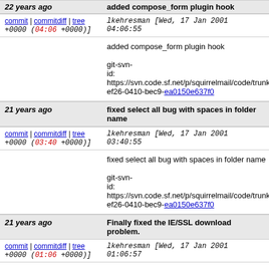22 years ago | added compose_form plugin hook
commit | commitdiff | tree lkehresman [Wed, 17 Jan 2001 04:06:55 +0000 (04:06 +0000)]
added compose_form plugin hook

git-svn-id: https://svn.code.sf.net/p/squirrelmail/code/trunk ef26-0410-bec9-ea0150e637f0
21 years ago | fixed select all bug with spaces in folder name
commit | commitdiff | tree lkehresman [Wed, 17 Jan 2001 03:40:55 +0000 (03:40 +0000)]
fixed select all bug with spaces in folder name

git-svn-id: https://svn.code.sf.net/p/squirrelmail/code/trunk ef26-0410-bec9-ea0150e637f0
21 years ago | Finally fixed the IE/SSL download problem.
commit | commitdiff | tree lkehresman [Wed, 17 Jan 2001 01:06:57 +0000 (01:06 +0000)]
Finally fixed the IE/SSL download problem.